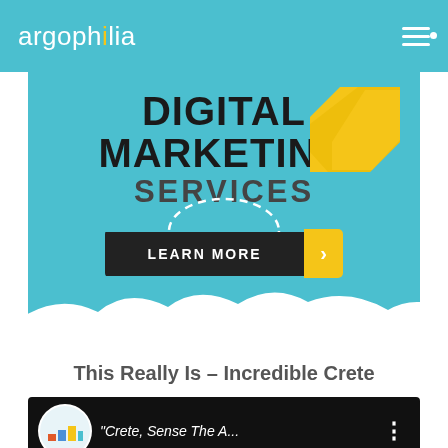argophilia
[Figure (infographic): Digital Marketing Services banner with blue background, bold text, gold lightning bolt graphic, dashed circle, and a LEARN MORE button with gold arrow.]
This Really Is – Incredible Crete
[Figure (screenshot): Video thumbnail showing a circular logo for Crete with text 'Crete, Sense The A...' on black background with three dots menu icon.]